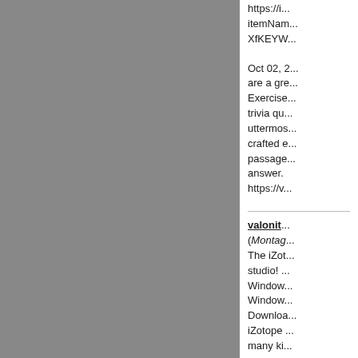https://... itemName... XfKEYW...
Oct 02, ... are a gre... Exercise... trivia qu... uttermos... crafted e... passage... answer. https://v...
valonit (Montag... The iZot... studio! ... Window... Window... Downloa... iZotope ... many ki...